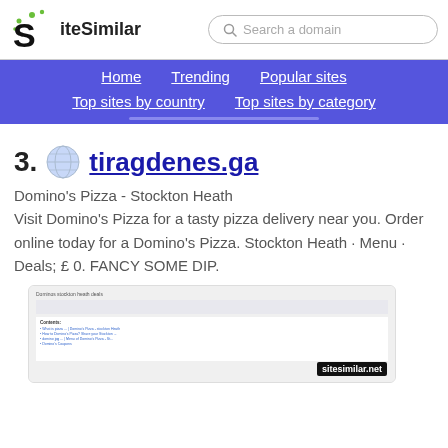SiteSimilar | Search a domain
Home | Trending | Popular sites | Top sites by country | Top sites by category
53. tiragdenes.ga
Domino's Pizza - Stockton Heath Visit Domino's Pizza for a tasty pizza delivery near you. Order online today for a Domino's Pizza. Stockton Heath · Menu · Deals; £ 0. FANCY SOME DIP.
[Figure (screenshot): Screenshot of tiragdenes.ga showing Domino's stockton heath deals page with Contents section listing menu items, with sitesimilar.net watermark]